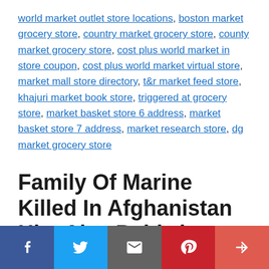world market outlet store locations, boston market grocery store, country market grocery store, county market grocery store, cost plus world market in store coupon, cost plus world market virtual store, market mall store directory, t&r market feed store, khajuri market book store, triggered at grocery store, market basket store 6 address, market basket store 7 address, market research store, dg market grocery store
Family Of Marine Killed In Afghanistan Hits Alec Baldwin With Second Lawsuit In New York Court